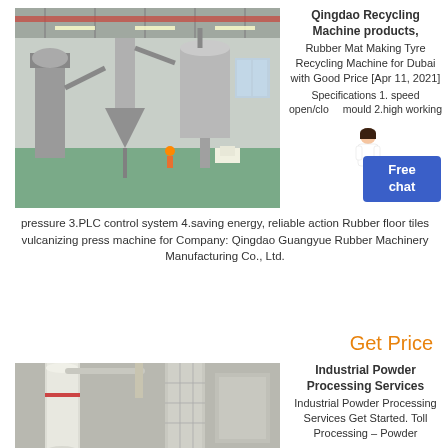[Figure (photo): Industrial factory interior with large machinery, recycling equipment, conveyors and dust collection systems in a large warehouse space]
Qingdao Recycling Machine products, Rubber Mat Making Tyre Recycling Machine for Dubai with Good Price [Apr 11, 2021] Specifications 1.speed open/close mould 2.high working pressure 3.PLC control system 4.saving energy, reliable action Rubber floor tiles vulcanizing press machine for Company: Qingdao Guangyue Rubber Machinery Manufacturing Co., Ltd.
Get Price
[Figure (photo): Industrial powder processing facility with large white cylindrical equipment, piping, and ductwork in an industrial building]
Industrial Powder Processing Services Industrial Powder Processing Services Get Started. Toll Processing – Powder